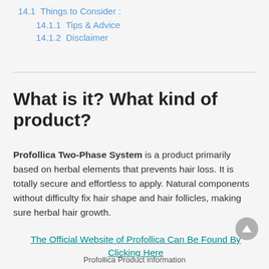14.1 Things to Consider :
14.1.1 Tips & Advice
14.1.2 Disclaimer
What is it? What kind of product?
Profollica Two-Phase System is a product primarily based on herbal elements that prevents hair loss. It is totally secure and effortless to apply. Natural components without difficulty fix hair shape and hair follicles, making sure herbal hair growth.
The Official Website of Profollica Can Be Found By Clicking Here
Profollica Product information